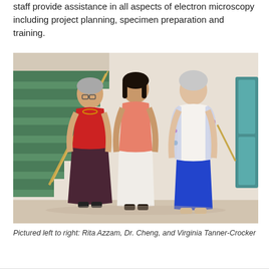staff provide assistance in all aspects of electron microscopy including project planning, specimen preparation and training.
[Figure (photo): Three women standing in front of a staircase with green steps in an institutional building hallway. Left woman wears a red top and floral skirt. Center woman wears a pink top and white pants. Right woman wears a floral jacket and blue skirt.]
Pictured left to right: Rita Azzam, Dr. Cheng, and Virginia Tanner-Crocker